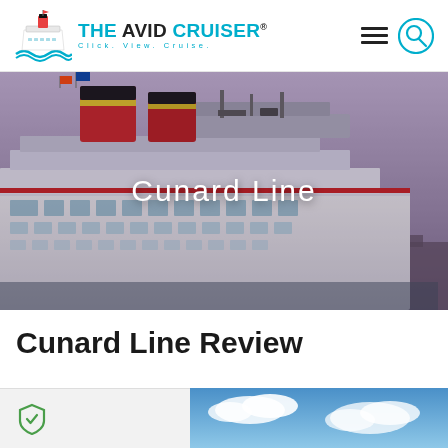THE AVID CRUISER® Click. View. Cruise.
[Figure (photo): Hero photo of Cunard cruise ship showing distinctive red and black funnels against a dusky purple-grey sky, with white ship hull and decks visible. Text overlay reads 'Cunard Line'.]
Cunard Line Review
[Figure (photo): Bottom strip: left side shows a shield/security icon on light grey background; right side shows blue sky with clouds photo.]